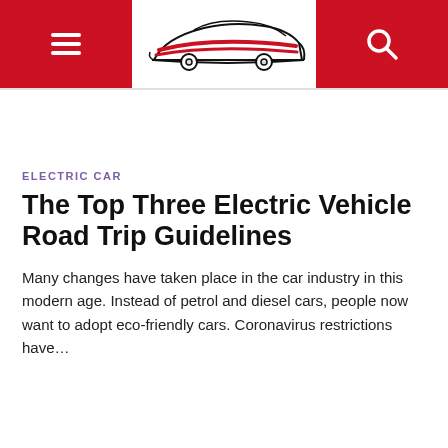Navigation header with hamburger menu, car logo, and search icon
ELECTRIC CAR
The Top Three Electric Vehicle Road Trip Guidelines
Many changes have taken place in the car industry in this modern age. Instead of petrol and diesel cars, people now want to adopt eco-friendly cars. Coronavirus restrictions have…